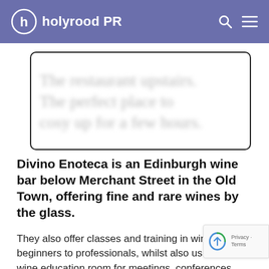[Figure (logo): Holyrood PR logo with circular h icon and text 'holyrood PR' on purple header bar, with search and menu icons on the right]
[Figure (screenshot): Blurred italic serif text inside a rounded border box reading approximately 'The restaurant upstairs. The perfect place to cosy up for a few hours.']
Divino Enoteca is an Edinburgh wine bar below Merchant Street in the Old Town, offering fine and rare wines by the glass.
They also offer classes and training in wine for beginners to professionals, whilst also using the wine education room for meetings, conferences, private events.